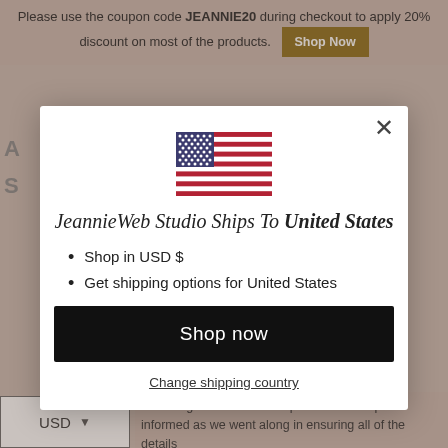Please use the coupon code JEANNIE20 during checkout to apply 20% discount on most of the products. Shop Now
[Figure (screenshot): Modal dialog showing JeannieWeb Studio ships to United States with US flag, bullet points, shop now button and change shipping country link]
JeannieWeb Studio Ships To United States
Shop in USD $
Get shipping options for United States
Shop now
Change shipping country
ve throughout the creation process and kept me informed as we went along in ensuring all of the details